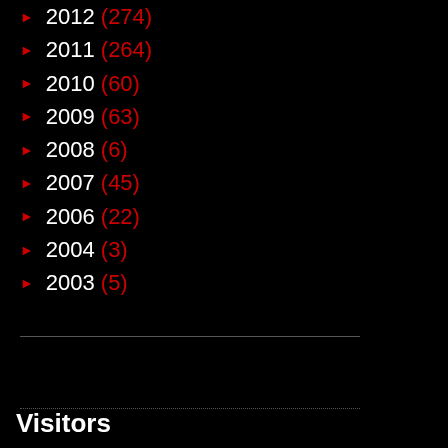► 2012 (274)
► 2011 (264)
► 2010 (60)
► 2009 (63)
► 2008 (6)
► 2007 (45)
► 2006 (22)
► 2004 (3)
► 2003 (5)
Visitors
| Flag | Country | Count | Flag | Country | Count |
| --- | --- | --- | --- | --- | --- |
| PH | 102,774 | IT | 415 |
| US | 28,618 | BE | 413 |
| MY | 3,328 | BN | 382 |
| SG | 3,169 | PL | 277 |
| IE | 1,949 | MN | 246 |
| CA | 1,911 | SE | 240 |